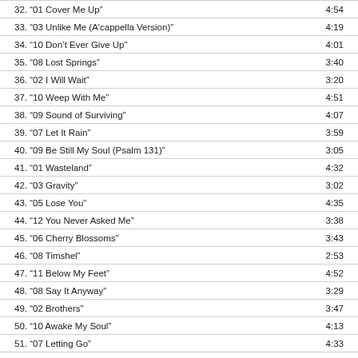32. “01 Cover Me Up”  4:54
33. “03 Unlike Me (A'cappella Version)”  4:19
34. “10 Don't Ever Give Up”  4:01
35. “08 Lost Springs”  3:40
36. “02 I Will Wait”  3:20
37. “10 Weep With Me”  4:51
38. “09 Sound of Surviving”  4:07
39. “07 Let It Rain”  3:59
40. “09 Be Still My Soul (Psalm 131)”  3:05
41. “01 Wasteland”  4:32
42. “03 Gravity”  3:02
43. “05 Lose You”  4:35
44. “12 You Never Asked Me”  3:38
45. “06 Cherry Blossoms”  3:43
46. “08 Timshel”  2:53
47. “11 Below My Feet”  4:52
48. “08 Say It Anyway”  3:29
49. “02 Brothers”  3:47
50. “10 Awake My Soul”  4:13
51. “07 Letting Go”  4:33